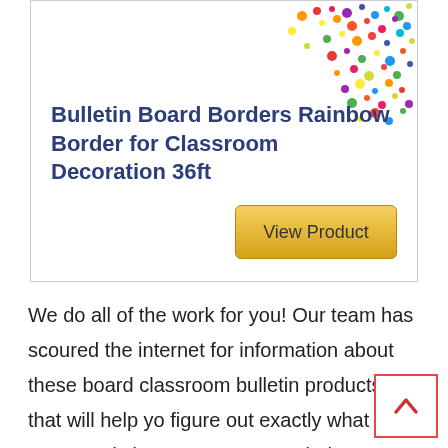[Figure (illustration): Rainbow confetti dots decoration in upper right of product card]
Bulletin Board Borders Rainbow Border for Classroom Decoration 36ft
[Figure (other): View Product button with golden/yellow gradient background]
We do all of the work for you! Our team has scoured the internet for information about these board classroom bulletin products that will help you figure out exactly what fits your needs best. We are not worried to recommend the best board